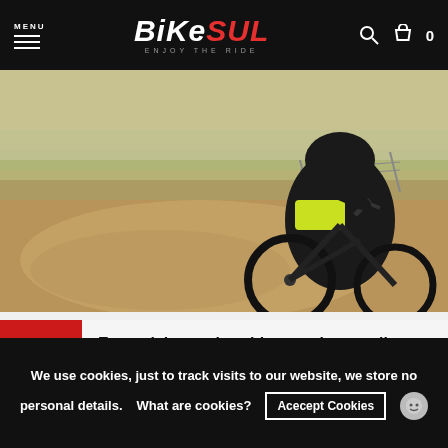MENU | BIKESUL ENJOY THE RIDE | Search | Cart 0
[Figure (photo): Cyclist wearing black and yellow jersey riding a mountain bike on a dirt track in an arid landscape]
Essentials to take with you when cycling on hot days
The good weather invites us to go out cycling, but in these days of high temperatures cyclists should be
We use cookies, just to track visits to our website, we store no personal details. What are cookies? Acecept Cookies